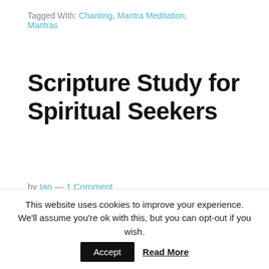Tagged With: Chanting, Mantra Meditation, Mantras
Scripture Study for Spiritual Seekers
by Ian — 1 Comment
[Figure (infographic): Social share buttons: Facebook, Twitter, Tumblr, and a plus/share button]
[Figure (photo): Nature/forest path with sunlight filtering through trees]
The word
This website uses cookies to improve your experience. We'll assume you're ok with this, but you can opt-out if you wish. Accept Read More